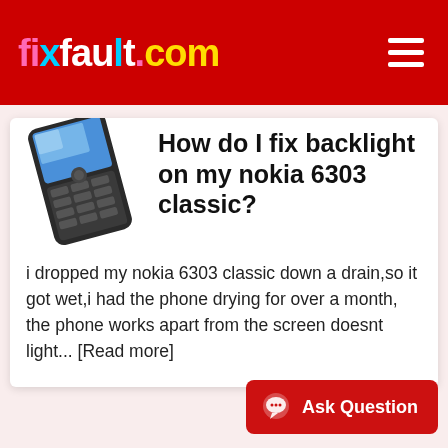fixfault.com
[Figure (photo): Nokia 6303 classic smartphone photo, angled view showing keyboard and screen]
How do I fix backlight on my nokia 6303 classic?
i dropped my nokia 6303 classic down a drain,so it got wet,i had the phone drying for over a month, the phone works apart from the screen doesnt light... [Read more]